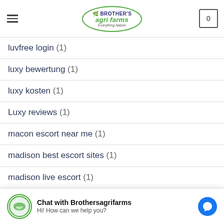Brother's Agri Farms - Everything Nature
luvfree login (1)
luxy bewertung (1)
luxy kosten (1)
Luxy reviews (1)
macon escort near me (1)
madison best escort sites (1)
madison live escort (1)
mail order bride (1)
mail order wife (1)